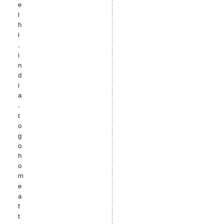e
l
h
i
.
i
n
d
i
a
.
t
o
g
o
h
o
m
e
a
f
t
e
r
w
a
t
c
h
i